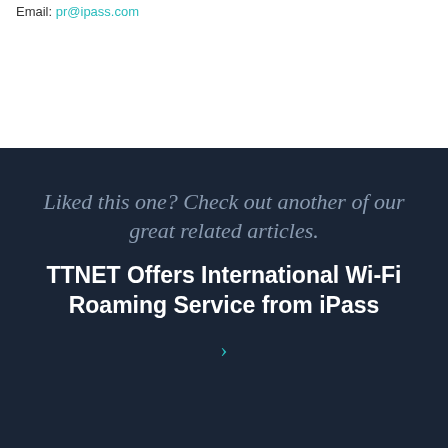Email: pr@ipass.com
Liked this one? Check out another of our great related articles.
TTNET Offers International Wi-Fi Roaming Service from iPass
›